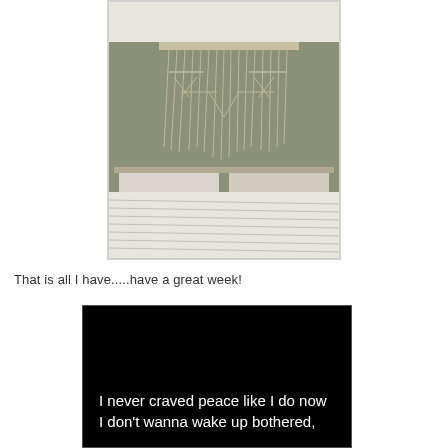[Figure (photo): A bedroom with a macrame wall hanging above a bed with striped bedding and pillows, against a green-grey wall.]
That is all I have.....have a great week!
[Figure (screenshot): Black background image with white text reading: 'I never craved peace like I do now / I don't wanna wake up bothered,']